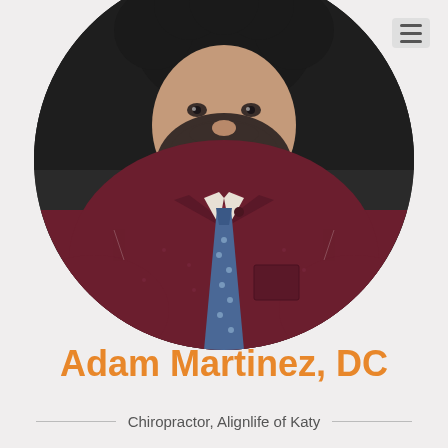[Figure (photo): Professional headshot of Adam Martinez, DC, a bearded man wearing a dark burgundy/maroon dress shirt with a blue polka-dot tie, photographed against a dark background, displayed in a circular crop]
Adam Martinez, DC
Chiropractor, Alignlife of Katy